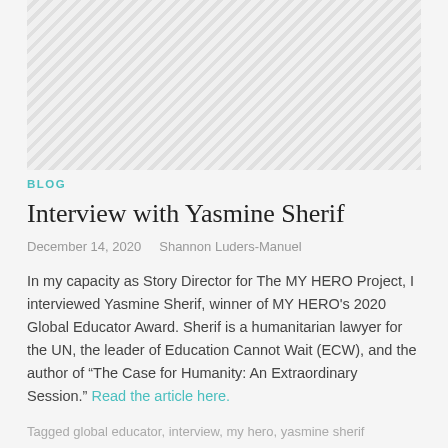[Figure (photo): Image placeholder with diagonal hatching pattern, representing a blog post header image]
BLOG
Interview with Yasmine Sherif
December 14, 2020    Shannon Luders-Manuel
In my capacity as Story Director for The MY HERO Project, I interviewed Yasmine Sherif, winner of MY HERO's 2020 Global Educator Award. Sherif is a humanitarian lawyer for the UN, the leader of Education Cannot Wait (ECW), and the author of “The Case for Humanity: An Extraordinary Session.” Read the article here.
Tagged global educator, interview, my hero, yasmine sherif